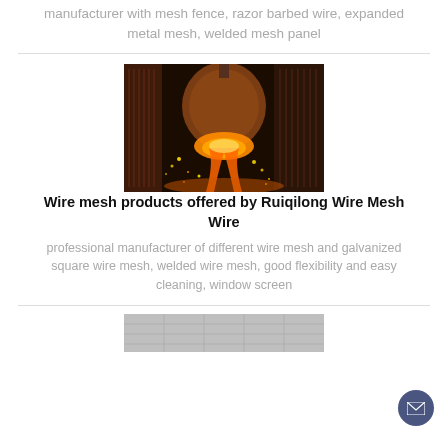manufacturer with mesh fence, razor barbed wire, expanded metal mesh, welded mesh panel
[Figure (photo): Industrial steel mill scene with molten metal pouring from a furnace, glowing orange sparks and fire, large industrial structures in background.]
Wire mesh products offered by Ruiqilong Wire Mesh Wire
professional manufacturer of different wire mesh and galvanized square wire mesh, welded wire mesh, good flexibility and easy cleaning, window screen
[Figure (photo): Partial view of a wire mesh or metal product, partially visible at bottom of page.]